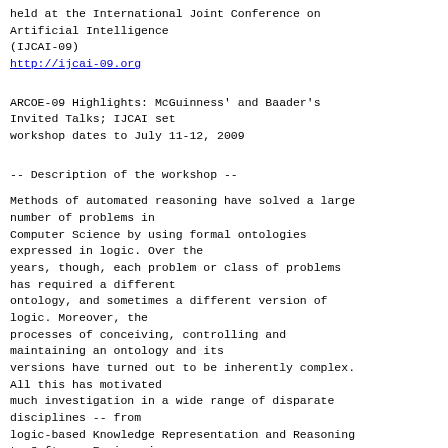held at the International Joint Conference on Artificial Intelligence
(IJCAI-09)
http://ijcai-09.org
ARCOE-09 Highlights: McGuinness' and Baader's Invited Talks; IJCAI set workshop dates to July 11-12, 2009
-- Description of the workshop --
Methods of automated reasoning have solved a large number of problems in Computer Science by using formal ontologies expressed in logic. Over the years, though, each problem or class of problems has required a different ontology, and sometimes a different version of logic. Moreover, the processes of conceiving, controlling and maintaining an ontology and its versions have turned out to be inherently complex. All this has motivated much investigation in a wide range of disparate disciplines -- from logic-based Knowledge Representation and Reasoning to Software Engineering,